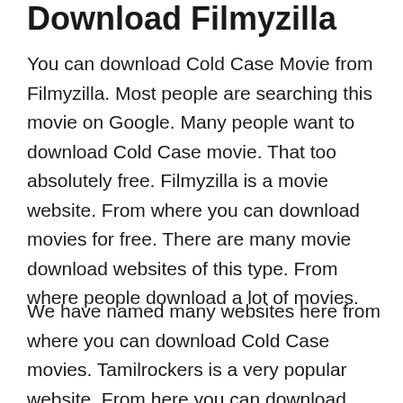Download Filmyzilla
You can download Cold Case Movie from Filmyzilla. Most people are searching this movie on Google. Many people want to download Cold Case movie. That too absolutely free. Filmyzilla is a movie website. From where you can download movies for free. There are many movie download websites of this type. From where people download a lot of movies.
We have named many websites here from where you can download Cold Case movies. Tamilrockers is a very popular website. From here you can download Cold Case movie